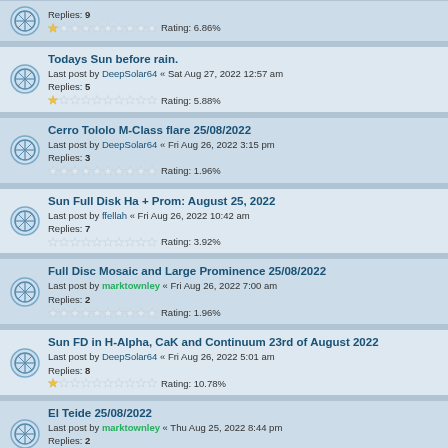Replies: 9 | Rating: 6.86%
Todays Sun before rain. | Last post by DeepSolar64 « Sat Aug 27, 2022 12:57 am | Replies: 5 | Rating: 5.88%
Cerro Tololo M-Class flare 25/08/2022 | Last post by DeepSolar64 « Fri Aug 26, 2022 3:15 pm | Replies: 3 | Rating: 1.96%
Sun Full Disk Ha + Prom: August 25, 2022 | Last post by ffellah « Fri Aug 26, 2022 10:42 am | Replies: 7 | Rating: 3.92%
Full Disc Mosaic and Large Prominence 25/08/2022 | Last post by marktownley « Fri Aug 26, 2022 7:00 am | Replies: 2 | Rating: 1.96%
Sun FD in H-Alpha, CaK and Continuum 23rd of August 2022 | Last post by DeepSolar64 « Fri Aug 26, 2022 5:01 am | Replies: 8 | Rating: 10.78%
El Teide 25/08/2022 | Last post by marktownley « Thu Aug 25, 2022 8:44 pm | Replies: 2 | Rating: 1.96%
Sun FD in H-Alpha, CaK and Continuum 20th of August 2022 | Last post by arnedanielsen « Thu Aug 25, 2022 8:03 pm